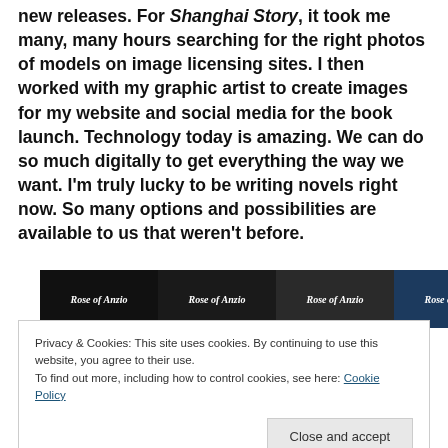new releases. For Shanghai Story, it took me many, many hours searching for the right photos of models on image licensing sites. I then worked with my graphic artist to create images for my website and social media for the book launch. Technology today is amazing. We can do so much digitally to get everything the way we want. I'm truly lucky to be writing novels right now. So many options and possibilities are available to us that weren't before.
[Figure (illustration): Four book covers side by side, all titled 'Rose of Anzio', displayed in a row with dark/black backgrounds]
Privacy & Cookies: This site uses cookies. By continuing to use this website, you agree to their use.
To find out more, including how to control cookies, see here: Cookie Policy
Close and accept
I know now that I should have started with your Rose of